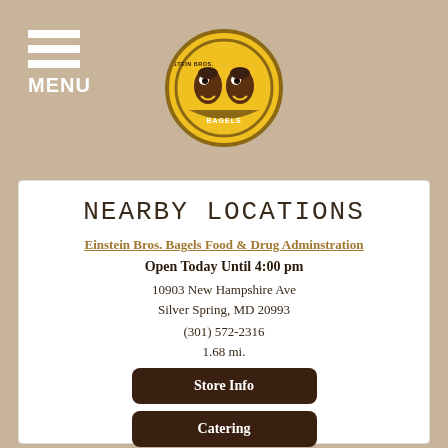MENU
NEARBY LOCATIONS
Einstein Bros. Bagels Food & Drug Adminstration
Open Today Until 4:00 pm
10903 New Hampshire Ave
Silver Spring, MD 20993
(301) 572-2316
1.68 mi.
Store Info
Catering
Get Directions